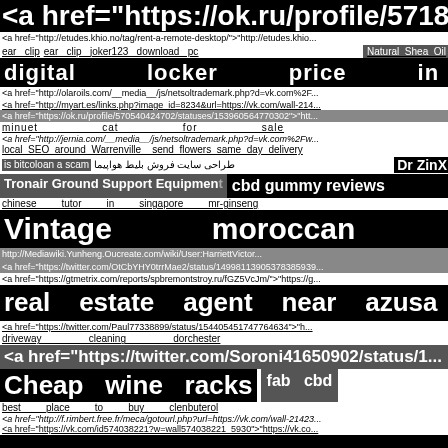<a href="https://ok.ru/profile/571868887...
<a href="http://etudes.khio.no/tag/rent-a-remote-desktop/">"http://etudes.khio...
ear clip  ear clip  joker123  download  pc   Natural Shea Oil
digital    locker    price    in    bd
<a href="http://olaroils.com/__media__/js/netsoltrademark.php?d=vk.com%2F...
<a href="http://myart.es/links.php?image_id=8234&url=https://vk.com/wall-214...
<a href="https://ok.ru/profile/570540424702/statuses/153960564770302">"htt...
minuet    cat    for    sale
<a href="http://jernia.com/__media__/js/netsoltrademark.php?d=vk.com%2Fw...
local SEO around Warrenville   send flowers same day delivery
is bitcoloan a scam   طراحی سایت فروش بلیط هواپیما   Dr ZinX
Tronair Ground Support Equipment   cbd gummy reviews
chinese    tutor    in    singapore    mr-ginseng
Vintage    moroccan    rug
http://Mediawiki.Yunheng.Oucreate.com/wiki/User:HarriettVictor...
<a href="https://twitter.com/OtCbYHY0trrMae2/status/14998113905378385939...
<a href="https://gtmetrix.com/reports/spbremontstroy.ru/fGZ5VcJm/">"https://g...
real  estate  agent  near  azusa
<a href="https://twitter.com/Paul77338899/status/154405451747764634">"h...
driveway    cleaning    dorchester
<a href="https://twitter.com/Soroni41650902/status/1...
Cheap  wine  racks    fab  cbd
best    place    to    buy    clenbuterol
<a href="http://f.rimbert.free.fr/meca/gotourl.php?url=https://vk.com/wall-21423...
<a href="https://vk.com/id574038221?w=wall574038221_5930">"https://vk.co...
...